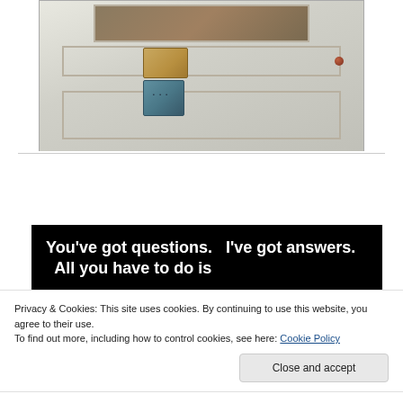[Figure (photo): Photo of an old white painted wooden door with glass window at top, decorative art piece (mailbox) mounted in the center, and a round red/brown door knob on the right side.]
[Figure (infographic): Black banner with bold white text reading: You've got questions. I've got answers. All you have to do is]
Privacy & Cookies: This site uses cookies. By continuing to use this website, you agree to their use.
To find out more, including how to control cookies, see here: Cookie Policy
Close and accept